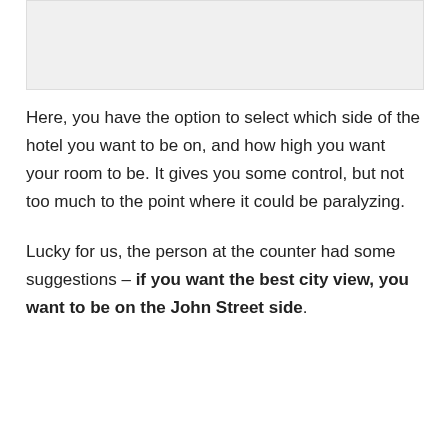[Figure (photo): Image placeholder at top of page]
Here, you have the option to select which side of the hotel you want to be on, and how high you want your room to be. It gives you some control, but not too much to the point where it could be paralyzing.
Lucky for us, the person at the counter had some suggestions – if you want the best city view, you want to be on the John Street side.